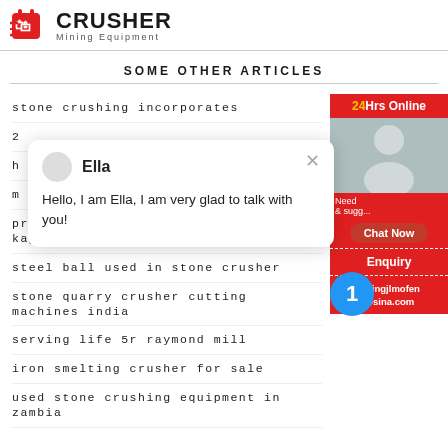[Figure (logo): Crusher Mining Equipment logo with red shopping bag icon and bold CRUSHER text]
SOME OTHER ARTICLES
stone crushing incorporates
2
h
m
presentasi pada pembuatan pasir batu kapur b
steel ball used in stone crusher
stone quarry crusher cutting machines india
serving life 5r raymond mill
iron smelting crusher for sale
used stone crushing equipment in zambia
[Figure (infographic): Red sidebar with 24Hrs Online badge, person image, Need & suggestions chat area, Chat Now button, Enquiry button, limingjlmofen@sina.com email]
[Figure (screenshot): Chat popup: avatar circle, name Ella, close X, message Hello I am Ella I am very glad to talk with you!]
[Figure (infographic): Blue notification circle with number 1]